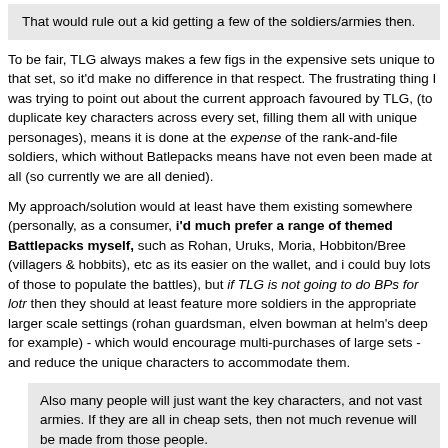That would rule out a kid getting a few of the soldiers/armies then.
To be fair, TLG always makes a few figs in the expensive sets unique to that set, so it'd make no difference in that respect. The frustrating thing I was trying to point out about the current approach favoured by TLG, (to duplicate key characters across every set, filling them all with unique personages), means it is done at the expense of the rank-and-file soldiers, which without Batlepacks means have not even been made at all (so currently we are all denied).
My approach/solution would at least have them existing somewhere (personally, as a consumer, i'd much prefer a range of themed Battlepacks myself, such as Rohan, Uruks, Moria, Hobbiton/Bree (villagers & hobbits), etc as its easier on the wallet, and i could buy lots of those to populate the battles), but if TLG is not going to do BPs for lotr then they should at least feature more soldiers in the appropriate larger scale settings (rohan guardsman, elven bowman at helm's deep for example) - which would encourage multi-purchases of large sets - and reduce the unique characters to accommodate them.
Also many people will just want the key characters, and not vast armies. If they are all in cheap sets, then not much revenue will be made from those people.